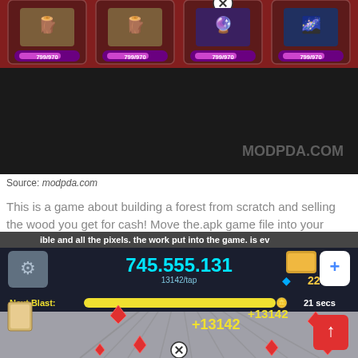[Figure (screenshot): Game screenshot showing four items each labeled 799/970, with a watermark MODPDA.COM on dark background]
Source: modpda.com
This is a game about building a forest from scratch and selling the wood you get for cash! Move the.apk game file into your android smartphone or tablet and install it (if you are on mobile, just install the apk tapping on it);
[Figure (screenshot): Game screenshot showing score 745,555,131 with 13142/tap, diamond 224, Next Blast progress bar 21 secs, +13142 floating text, red crystals scattered on rocky background]